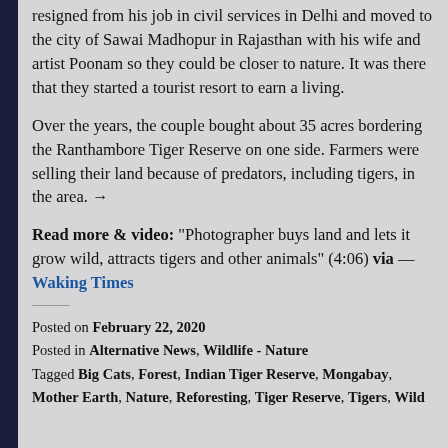resigned from his job in civil services in Delhi and moved to the city of Sawai Madhopur in Rajasthan with his wife and artist Poonam so they could be closer to nature. It was there that they started a tourist resort to earn a living.
Over the years, the couple bought about 35 acres bordering the Ranthambore Tiger Reserve on one side. Farmers were selling their land because of predators, including tigers, in the area. →
Read more & video: "Photographer buys land and lets it grow wild, attracts tigers and other animals" (4:06) via — Waking Times
Posted on February 22, 2020
Posted in Alternative News, Wildlife - Nature
Tagged Big Cats, Forest, Indian Tiger Reserve, Mongabay, Mother Earth, Nature, Reforesting, Tiger Reserve, Tigers, Wild